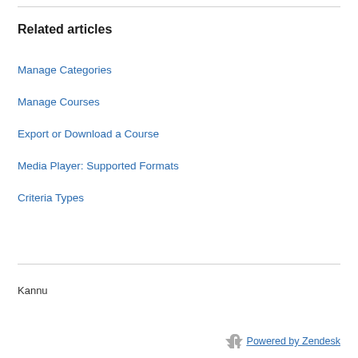Related articles
Manage Categories
Manage Courses
Export or Download a Course
Media Player: Supported Formats
Criteria Types
Kannu
Powered by Zendesk